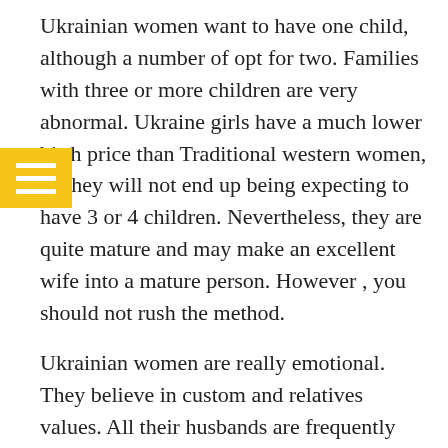Ukrainian women want to have one child, although a number of opt for two. Families with three or more children are very abnormal. Ukraine girls have a much lower birth price than Traditional western women, so they will not end up being expecting to have 3 or 4 children. Nevertheless, they are quite mature and may make an excellent wife into a mature person. However , you should not rush the method.
Ukrainian women are really emotional. They believe in custom and relatives values. All their husbands are frequently jealous of these. However , if you are qualified to communicate with these people and build a powerful relationship, it is possible to build a caring, long-lasting romantic relationship with your Ukrainian wife. The Ukrainian Orthodox Christian Church is the most popular religious beliefs in Ukraine, and